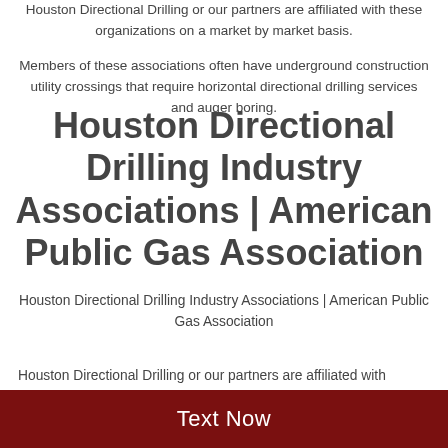Houston Directional Drilling or our partners are affiliated with these organizations on a market by market basis.
Members of these associations often have underground construction utility crossings that require horizontal directional drilling services and auger boring.
Houston Directional Drilling Industry Associations | American Public Gas Association
Houston Directional Drilling Industry Associations | American Public Gas Association
Houston Directional Drilling or our partners are affiliated with
Text Now